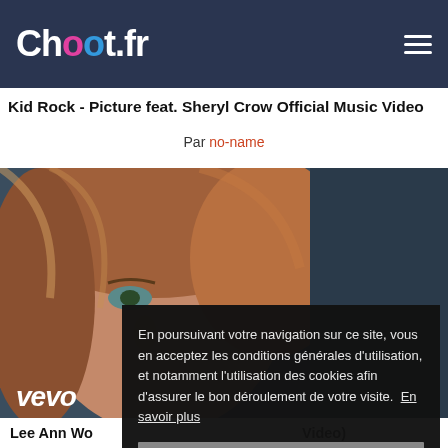Choot.fr
Kid Rock - Picture feat. Sheryl Crow Official Music Video
Par no-name
[Figure (photo): Close-up photo of a woman with curly brown-blonde hair and blue-green eyes, with a vevo logo watermark in the lower left corner. Background is dark blue.]
En poursuivant votre navigation sur ce site, vous en acceptez les conditions générales d'utilisation, et notamment l'utilisation des cookies afin d'assurer le bon déroulement de votre visite.  En savoir plus
Fermer
Lee Ann Wo...
Video)